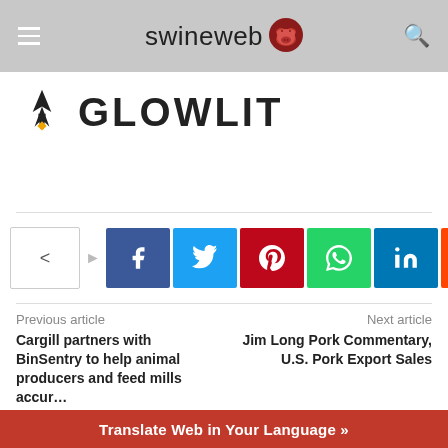swineweb
[Figure (logo): GLOWLIT logo with stylized black bird/torch icon and yellow diamond]
[Figure (infographic): Social share buttons: Facebook, Twitter, Pinterest, WhatsApp, LinkedIn, Reddit, and More (+)]
Previous article
Next article
Cargill partners with BinSentry to help animal producers and feed mills accur…
Jim Long Pork Commentary, U.S. Pork Export Sales
Translate Web in Your Language »